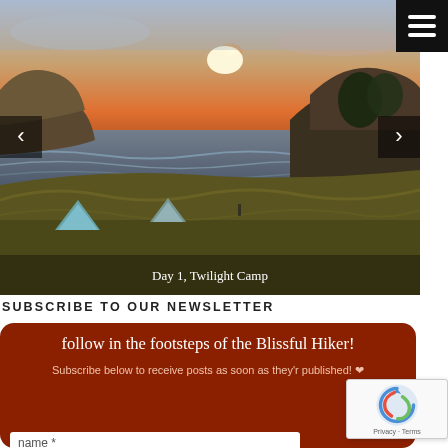[Figure (photo): Coastal campsite at twilight/sunset showing tents on grassy slope, rocky headlands, ocean waves, and orange sunset sky. Navigation arrows on left and right sides.]
Day 1, Twilight Camp
SUBSCRIBE TO OUR NEWSLETTER
follow in the footsteps of the Blissful Hiker!
Subscribe below to receive posts as soon as they're published! ♥
name *